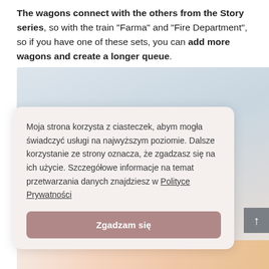The wagons connect with the others from the Story series, so with the train "Farma" and "Fire Department", so if you have one of these sets, you can add more wagons and create a longer queue.
[Figure (photo): Background photo of a soft blurred surface with a cookie consent modal overlay. Below the modal a colorful bottom strip is visible.]
Moja strona korzysta z ciasteczek, abym mogła świadczyć usługi na najwyższym poziomie. Dalsze korzystanie ze strony oznacza, że zgadzasz się na ich użycie. Szczegółowe informacje na temat przetwarzania danych znajdziesz w Polityce Prywatności
Zgadzam się